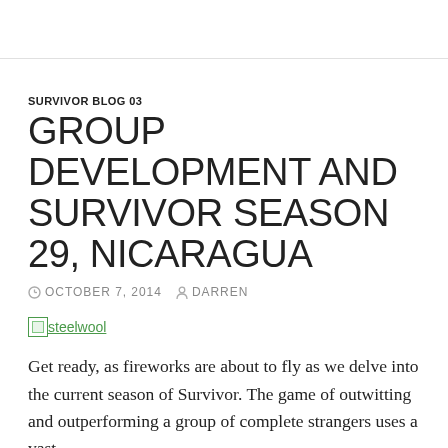SURVIVOR BLOG 03
GROUP DEVELOPMENT AND SURVIVOR SEASON 29, NICARAGUA
OCTOBER 7, 2014   DARREN
[Figure (other): Broken image placeholder with link text 'steelwool']
Get ready, as fireworks are about to fly as we delve into the current season of Survivor.  The game of outwitting and outperforming a group of complete strangers uses a vast